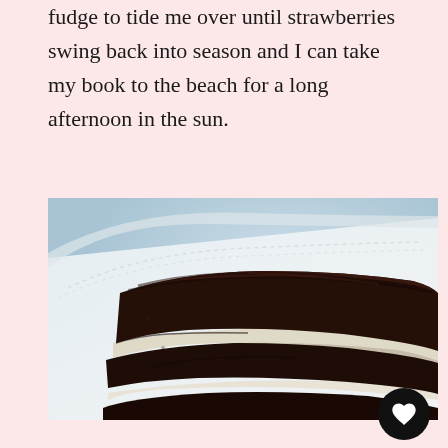fudge to tide me over until strawberries swing back into season and I can take my book to the beach for a long afternoon in the sun.
[Figure (photo): Close-up photograph of a slice of layered chocolate cake with white cream filling between the layers, served on a white plate with a light blue background.]